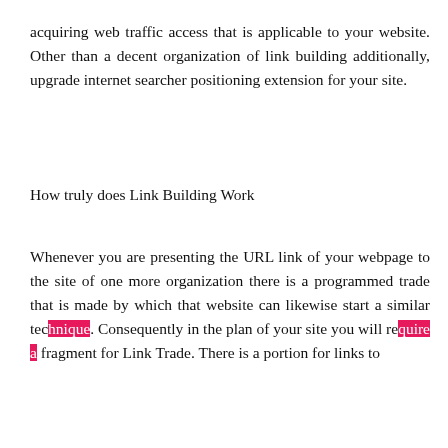acquiring web traffic access that is applicable to your website. Other than a decent organization of link building additionally, upgrade internet searcher positioning extension for your site.
How truly does Link Building Work
Whenever you are presenting the URL link of your webpage to the site of one more organization there is a programmed trade that is made by which that website can likewise start a similar technique. Consequently in the plan of your site you will require a fragment for Link Trade. There is a portion for links to